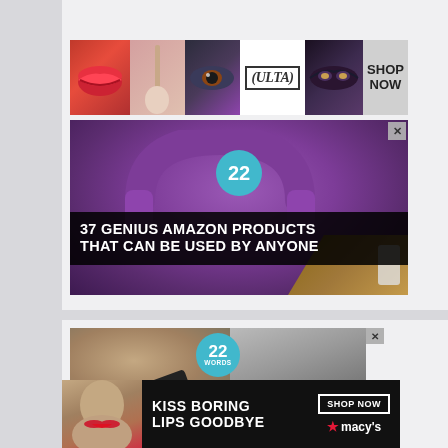[Figure (advertisement): Ulta Beauty advertisement banner showing makeup product images (lips, brush, eye) alongside the Ulta logo and 'SHOP NOW' call to action]
[Figure (advertisement): 22 Words advertisement for '37 Genius Amazon Products That Can Be Used By Anyone' with purple headphones background and teal 22 badge, with X close button]
[Figure (advertisement): 22 Words advertisement bottom section showing a person with a black object, teal 22 Words badge, and CLOSE button, with X close button]
[Figure (advertisement): Macy's advertisement banner showing 'Kiss Boring Lips Goodbye' with woman's face, SHOP NOW button and Macy's star logo]